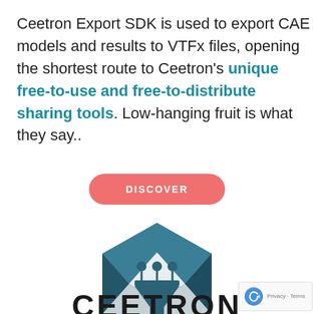Ceetron Export SDK is used to export CAE models and results to VTFx files, opening the shortest route to Ceetron's unique free-to-use and free-to-distribute sharing tools. Low-hanging fruit is what they say..
[Figure (other): A pink/salmon rounded rectangle button with 'DISCOVER' text in white bold caps with letter spacing]
[Figure (logo): Ceetron hexagonal logo: a 3D hexagon in dark teal blue with a light grey center panel containing a funnel/filter icon with three circular nodes on top, and the word CEETRON below in large bold black letters]